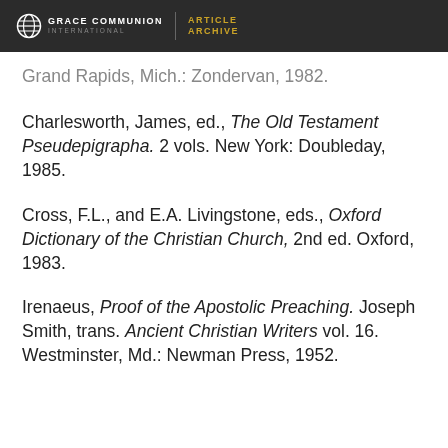Grace Communion International | Article Archive
[partial] ...Grand Rapids, Mich.: Zondervan, 1982.
Charlesworth, James, ed., The Old Testament Pseudepigrapha. 2 vols. New York: Doubleday, 1985.
Cross, F.L., and E.A. Livingstone, eds., Oxford Dictionary of the Christian Church, 2nd ed. Oxford, 1983.
Irenaeus, Proof of the Apostolic Preaching. Joseph Smith, trans. Ancient Christian Writers vol. 16. Westminster, Md.: Newman Press, 1952.